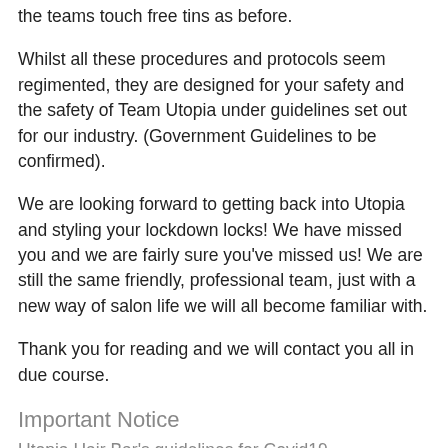the teams touch free tins as before.
Whilst all these procedures and protocols seem regimented, they are designed for your safety and the safety of Team Utopia under guidelines set out for our industry. (Government Guidelines to be confirmed).
We are looking forward to getting back into Utopia and styling your lockdown locks! We have missed you and we are fairly sure you've missed us! We are still the same friendly, professional team, just with a new way of salon life we will all become familiar with.
Thank you for reading and we will contact you all in due course.
Important Notice
Utopia Hair Bar's guidelines for Covid19